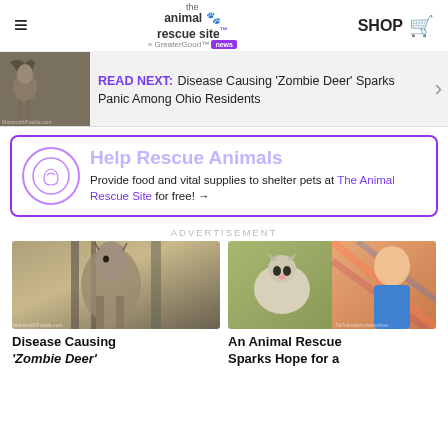the animal rescue site — News | SHOP
READ NEXT: Disease Causing 'Zombie Deer' Sparks Panic Among Ohio Residents
Help Rescue Animals
Provide food and vital supplies to shelter pets at The Animal Rescue Site for free! →
ADVERTISEMENT
[Figure (photo): Photo of a deer in a wooded area]
Disease Causing 'Zombie Deer'
[Figure (photo): Photo of a cat and a child holding a cat]
An Animal Rescue Sparks Hope for a